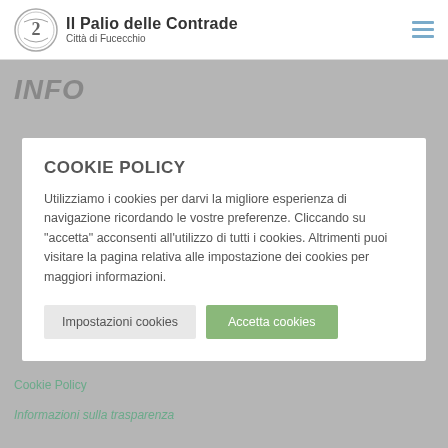Il Palio delle Contrade — Città di Fucecchio
INFO
COOKIE POLICY
Utilizziamo i cookies per darvi la migliore esperienza di navigazione ricordando le vostre preferenze. Cliccando su "accetta" acconsenti all'utilizzo di tutti i cookies. Altrimenti puoi visitare la pagina relativa alle impostazione dei cookies per maggiori informazioni.
Impostazioni cookies
Accetta cookies
Cookie Policy
Informazioni sulla trasparenza